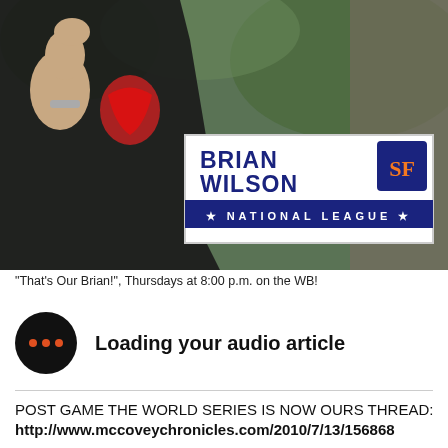[Figure (photo): A man in a black t-shirt with a red graphic holding a sign that reads 'BRIAN WILSON NATIONAL LEAGUE' with a San Francisco Giants logo. The background shows green trees and another person.]
"That's Our Brian!", Thursdays at 8:00 p.m. on the WB!
[Figure (infographic): Black circular audio player icon with three orange dots, next to text 'Loading your audio article']
POST GAME THE WORLD SERIES IS NOW OURS THREAD:
http://www.mccoveychronicles.com/2010/7/13/156868